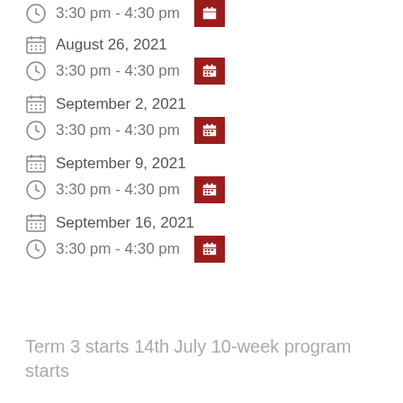3:30 pm - 4:30 pm
August 26, 2021 · 3:30 pm - 4:30 pm
September 2, 2021 · 3:30 pm - 4:30 pm
September 9, 2021 · 3:30 pm - 4:30 pm
September 16, 2021 · 3:30 pm - 4:30 pm
Term 3 starts 14th July 10-week program starts